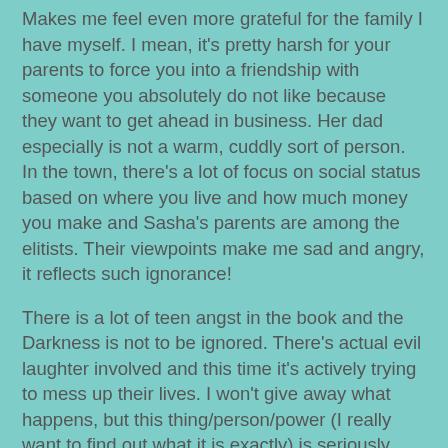Makes me feel even more grateful for the family I have myself. I mean, it's pretty harsh for your parents to force you into a friendship with someone you absolutely do not like because they want to get ahead in business. Her dad especially is not a warm, cuddly sort of person. In the town, there's a lot of focus on social status based on where you live and how much money you make and Sasha's parents are among the elitists. Their viewpoints make me sad and angry, it reflects such ignorance!
There is a lot of teen angst in the book and the Darkness is not to be ignored. There's actual evil laughter involved and this time it's actively trying to mess up their lives. I won't give away what happens, but this thing/person/power (I really want to find out what it is exactly) is seriously disturbed and needs to be beaten!
I enjoyed learning more about their powers and where they came from. And Sasha's powers expand in a very logical way, which I liked. There's not a really great amount of action in the book, it feels as a build-up towards the real thing that's bound to come in the next book (fingers crossed!).
And I just have to say I'm still rooting for John (this will only